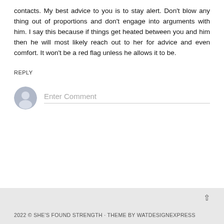contacts. My best advice to you is to stay alert. Don't blow anything out of proportions and don't engage into arguments with him. I say this because if things get heated between you and him then he will most likely reach out to her for advice and even comfort. It won't be a red flag unless he allows it to be.
REPLY
[Figure (other): User avatar icon (grey circular silhouette) next to an 'Enter Comment' text input field with a bottom border line]
2022 © SHE'S FOUND STRENGTH · THEME BY WATDESIGNEXPRESS